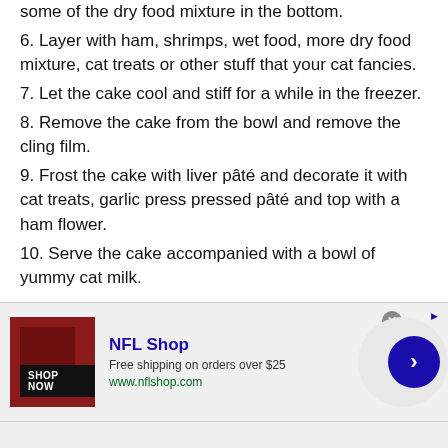some of the dry food mixture in the bottom.
6. Layer with ham, shrimps, wet food, more dry food mixture, cat treats or other stuff that your cat fancies.
7. Let the cake cool and stiff for a while in the freezer.
8. Remove the cake from the bowl and remove the cling film.
9. Frost the cake with liver pâté and decorate it with cat treats, garlic press pressed pâté and top with a ham flower.
10. Serve the cake accompanied with a bowl of yummy cat milk.
Recipe via coffeemachinecuisine
[Figure (infographic): NFL Shop advertisement banner with logo image, text reading 'NFL Shop', 'Free shipping on orders over $25', 'www.nflshop.com', a SHOP NOW button, and a blue circular arrow button on the right.]